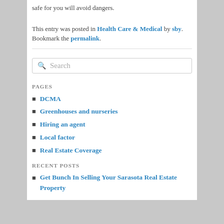safe for you will avoid dangers.
This entry was posted in Health Care & Medical by sby. Bookmark the permalink.
Search
PAGES
DCMA
Greenhouses and nurseries
Hiring an agent
Local factor
Real Estate Coverage
RECENT POSTS
Get Bunch In Selling Your Sarasota Real Estate Property